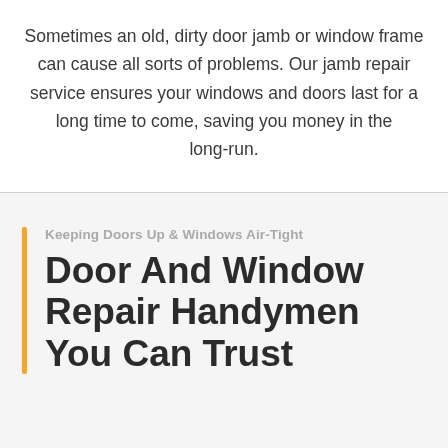Sometimes an old, dirty door jamb or window frame can cause all sorts of problems. Our jamb repair service ensures your windows and doors last for a long time to come, saving you money in the long-run.
Keeping Doors Up & Windows Air-Tight
Door And Window Repair Handymen You Can Trust